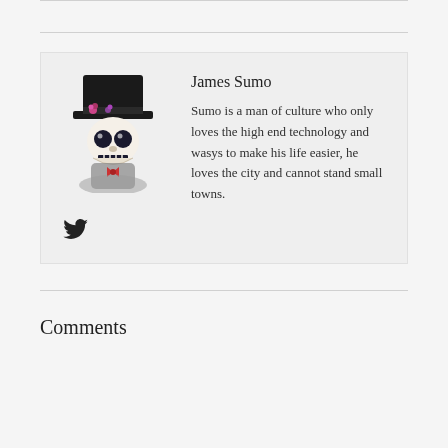[Figure (illustration): Stylized skull character wearing a top hat with flowers, a bow tie, and a suit — Day of the Dead style avatar for James Sumo]
James Sumo
Sumo is a man of culture who only loves the high end technology and wasys to make his life easier, he loves the city and cannot stand small towns.
[Figure (logo): Twitter bird icon]
Comments